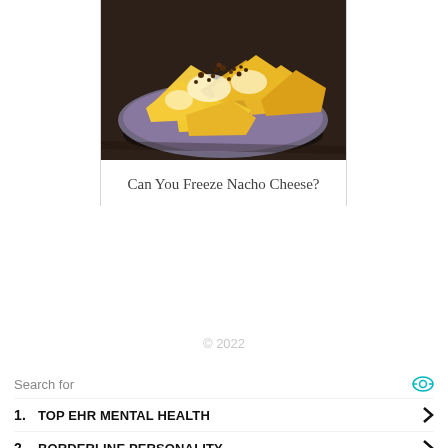[Figure (photo): A plate of nachos with melted yellow cheese and crumbled toppings on a dark plate, viewed from above on a dark wooden table]
Can You Freeze Nacho Cheese?
© 2022
Search for
1. TOP EHR MENTAL HEALTH
2. BORDERLINE PERSONALITY
Yahoo! Search | Sponsored